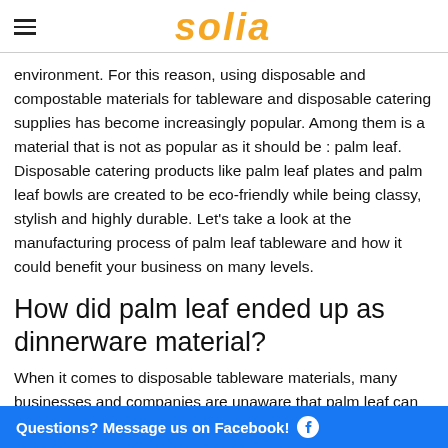solia
environment. For this reason, using disposable and compostable materials for tableware and disposable catering supplies has become increasingly popular. Among them is a material that is not as popular as it should be : palm leaf. Disposable catering products like palm leaf plates and palm leaf bowls are created to be eco-friendly while being classy, stylish and highly durable. Let's take a look at the manufacturing process of palm leaf tableware and how it could benefit your business on many levels.
How did palm leaf ended up as dinnerware material?
When it comes to disposable tableware materials, many businesses and companies are unaware that palm leaf can be sourced from tropical … long. They
Questions? Message us on Facebook!